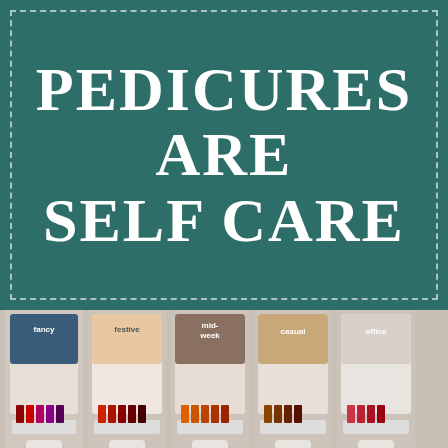PEDICURES ARE SELF CARE
[Figure (photo): Nail polish display stands in a salon showing various themed collections: festive, mid-week, casual, office, date, holiday, play, serene, on cloud nine]
Advertisements
Professionally designed sites in less than a week